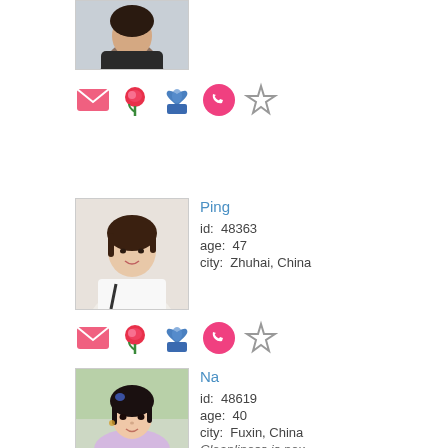[Figure (photo): Partial photo of a woman in a dark top, cropped at top of page]
[Figure (infographic): Row of action icons: envelope, rose, gift/heart, phone, star]
[Figure (photo): Photo of a woman named Ping with short dark hair, white top]
Ping
id:  48363
age:  47
city:  Zhuhai, China
[Figure (infographic): Row of action icons: envelope, rose, gift/heart, phone, star]
[Figure (photo): Photo of a young woman named Na with dark hair]
Na
id:  48619
age:  40
city:  Fuxin, China
Cleanliness is nex...